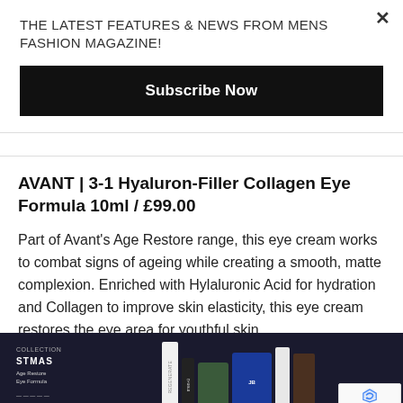THE LATEST FEATURES & NEWS FROM MENS FASHION MAGAZINE!
Subscribe Now
AVANT | 3-1 Hyaluron-Filler Collagen Eye Formula 10ml / £99.00
Part of Avant's Age Restore range, this eye cream works to combat signs of ageing while creating a smooth, matte complexion. Enriched with Hylaluronic Acid for hydration and Collagen to improve skin elasticity, this eye cream restores the eye area for youthful skin.
[Figure (photo): Product photo showing a collection of men's grooming/skincare products against a dark background, including tubes and bottles. Includes a reCAPTCHA badge in the corner.]